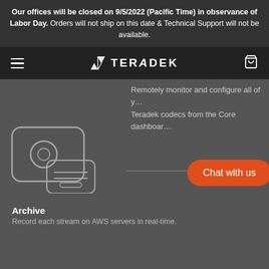Our offices will be closed on 9/5/2022 (Pacific Time) in observance of Labor Day. Orders will not ship on this date & Technical Support will not be available.
[Figure (logo): Teradek logo with navigation bar including hamburger menu and cart icon]
Remotely monitor and configure all of your Teradek codecs from the Core dashboard.
[Figure (illustration): Archive icon: a camera device overlapping with a hard drive device, outlined in light gray on dark background]
Archive
Record each stream on AWS servers in real-time.
[Figure (other): Orange 'Chat with us' button in bottom right area]